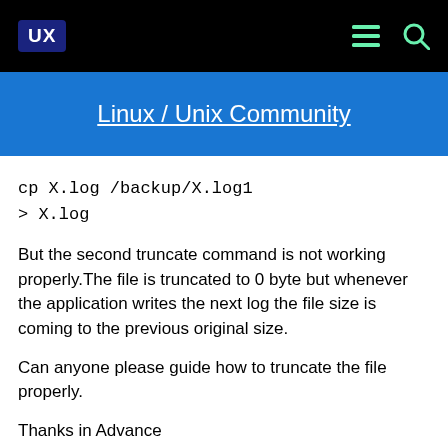UX | Linux / Unix Community
cp X.log /backup/X.log1
> X.log
But the second truncate command is not working properly.The file is truncated to 0 byte but whenever the application writes the next log the file size is coming to the previous original size.
Can anyone please guide how to truncate the file properly.
Thanks in Advance